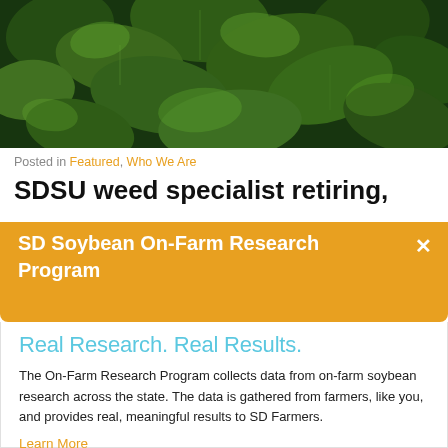[Figure (photo): Close-up photograph of green soybean plant leaves]
Posted in Featured, Who We Are
SDSU weed specialist retiring,
SD Soybean On-Farm Research Program
Real Research. Real Results.
The On-Farm Research Program collects data from on-farm soybean research across the state. The data is gathered from farmers, like you, and provides real, meaningful results to SD Farmers.
Learn More